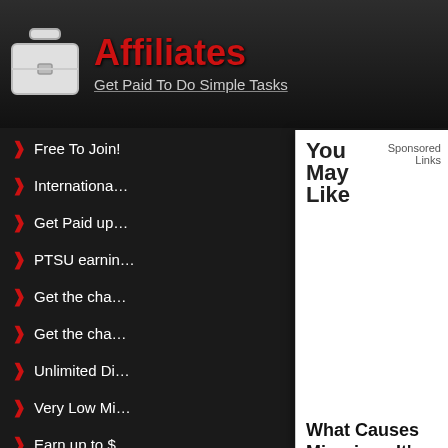[Figure (screenshot): Website screenshot showing an Affiliates page with dark background, red title 'Affiliates', subtitle 'Get Paid To Do Simple Tasks', briefcase icon, and a list of bullet points partially covered by a sponsored ad overlay. The ad overlay shows 'You May Like', 'Sponsored Links', a blank white area, and an ad for 'What Causes Migraine - It's Not What Most People Think.' with source 'Migraine Remedy']
Affiliates
Get Paid To Do Simple Tasks
Free To Join!
Internationa…
Get Paid up…
PTSU earnin…
Get the cha…
Get the cha…
Unlimited Di…
Very Low Mi…
Earn up to $…
LITECOIN P… ain
Terms of Service
You May Like
Sponsored Links
What Causes Migraine - It's Not What Most People Think.
Migraine Remedy